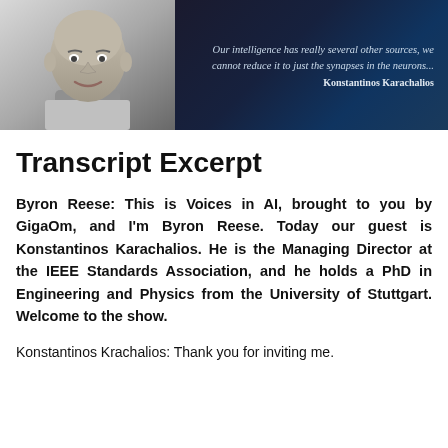[Figure (photo): Black and white photo of a middle-aged bald man in a suit and tie, smiling, with a dark blue gradient background on the right side containing an italicized quote: 'Our intelligence has really several other sources, we cannot reduce it to just the synapses in the neurons...' attributed to Konstantinos Karachalios]
Transcript Excerpt
Byron Reese: This is Voices in AI, brought to you by GigaOm, and I'm Byron Reese. Today our guest is Konstantinos Karachalios. He is the Managing Director at the IEEE Standards Association, and he holds a PhD in Engineering and Physics from the University of Stuttgart. Welcome to the show.
Konstantinos Krachalios: Thank you for inviting me.